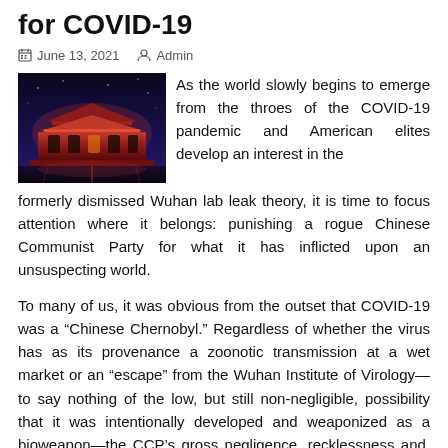for COVID-19
June 13, 2021   Admin
[Figure (photo): Nighttime photo of a Chinese imperial building (likely Tiananmen Gate) illuminated in red and orange lights against a dark blue sky, reflected in water below.]
As the world slowly begins to emerge from the throes of the COVID-19 pandemic and American elites develop an interest in the formerly dismissed Wuhan lab leak theory, it is time to focus attention where it belongs: punishing a rogue Chinese Communist Party for what it has inflicted upon an unsuspecting world.
To many of us, it was obvious from the outset that COVID-19 was a “Chinese Chernobyl.” Regardless of whether the virus has as its provenance a zoonotic transmission at a wet market or an “escape” from the Wuhan Institute of Virology—to say nothing of the low, but still non-negligible, possibility that it was intentionally developed and weaponized as a bioweapon—the CCP’s gross negligence, recklessness and, indeed, malice all contributed to an initially localized virus metastasizing into a crippling global phenomenon.